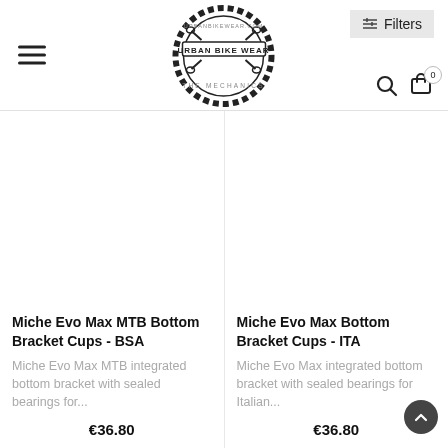[Figure (logo): Urban Bike Wear circular logo with chain border, wrench icons, and banner text 'URBAN BIKE WEAR & THE MECHANICS']
Filters
Miche Evo Max MTB Bottom Bracket Cups - BSA
Miche Evo Max MTB integrated bottom bracket with sealed bearings for...
€36.80
Miche Evo Max Bottom Bracket Cups - ITA
Miche Evo Max integrated bottom bracket with sealed bearings for Italian...
€36.80